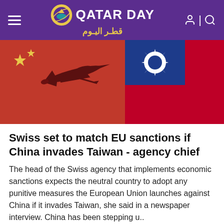Qatar Day | قطر اليوم
[Figure (photo): Hero image showing silhouette of a military jet fighter against Chinese and Taiwanese flags backdrop]
Swiss set to match EU sanctions if China invades Taiwan - agency chief
The head of the Swiss agency that implements economic sanctions expects the neutral country to adopt any punitive measures the European Union launches against China if it invades Taiwan, she said in a newspaper interview. China has been stepping u..
READ MORE